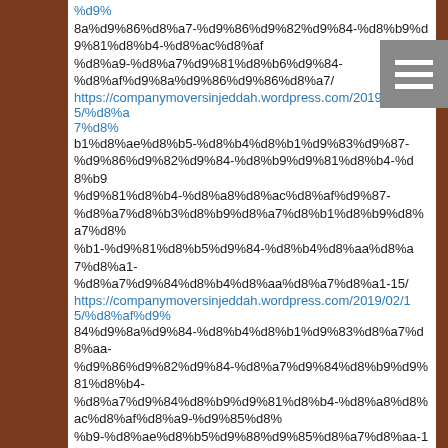%d9%
8a%d9%86%d8%a7-%d9%86%d9%82%d9%84-%d8%b9%d9%81%d8%b4-%d8%ac%d8%af%d8%a9-%d8%a7%d9%81%d8%b6%d9%84-%d8%af%d9%8a%d9%86%d9%86%d8%a7/
https://companymoversinjeddah.wordpress.com/2019/02/15/%d8%a7%d8%
b1%d8%ae%d8%b5-%d8%b4%d8%b1%d9%83%d9%877-%d9%86%d9%82%d9%84-%d8%b9%d9%81%d8%b4-%d8%a8%d8%ac%d8%af%d9%87-%d8%a7%d8%b3%d8%b9%d8%a7%d8%%b1-%d9%81%d8%b5%d9%84-%d8%a7%d9%84%d8%b4%d8%aa%d8%a7%d8%a7%d8%a7%d8%1/
https://companymoversinjeddah.wordpress.com/2019/02/15/%d8%af%d9%
84d9%8a%d9%84-%d8%b4%d8%b1%d9%83%d8%a7%d8%aa-%d9%86%d9%82%d9%84-%d8%a7%d9%84%d8%b9%d9%81%d8%b4-%d8%a8%d8%ac%d8%af%d8%a9-%d9%85%d8%b9-%d9%86%d8%b5%d9%88%d9%87%d8%a7%d8%aa%d8%aa/
https://companymoversinjeddah.wordpress.com/2019/02/15/%d8%b4%d8%
b1%d9%83%d8%a9-%d9%86%d9%82%d9%84-%d8%b9%d9%81%d8%b4-%d8%a8%d8%b1%d8%a7%d8%b8%d8%ba-15-%d8%b9%d8%a7%d9%85-%d9%85%d8%a8%d8%a7%d8%b1%d9%83-%d8%a9
/
https://companymoversinjeddah.wordpress.com/2018/12/12/%d8%b4%d8%